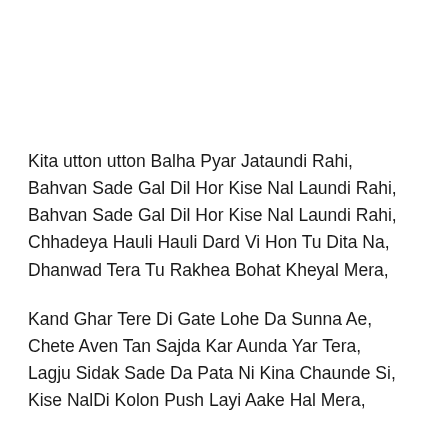Kita utton utton Balha Pyar Jataundi Rahi,
Bahvan Sade Gal Dil Hor Kise Nal Laundi Rahi,
Bahvan Sade Gal Dil Hor Kise Nal Laundi Rahi,
Chhadeya Hauli Hauli Dard Vi Hon Tu Dita Na,
Dhanwad Tera Tu Rakhea Bohat Kheyal Mera,
Kand Ghar Tere Di Gate Lohe Da Sunna Ae,
Chete Aven Tan Sajda Kar Aunda Yar Tera,
Lagju Sidak Sade Da Pata Ni Kina Chaunde Si,
Kise NalDi Kolon Push Layi Aake Hal Mera,